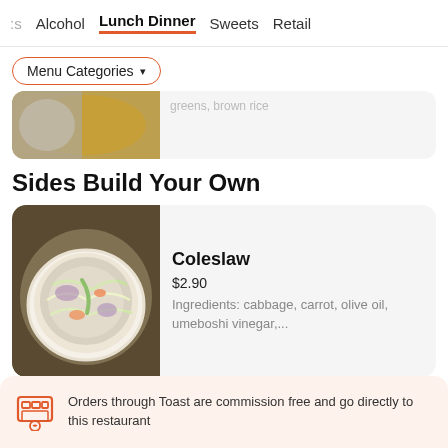s  Alcohol  Lunch Dinner  Sweets  Retail
Menu Categories ▼
[Figure (photo): Partially visible food photo showing rice and lentils/curry dish, with text 'greens, brown rice' partially visible]
Sides Build Your Own
[Figure (photo): Bowl of coleslaw with cabbage, carrot, and dressing on a dark wooden surface]
Coleslaw
$2.90
Ingredients: cabbage, carrot, olive oil, umeboshi vinegar,...
Orders through Toast are commission free and go directly to this restaurant